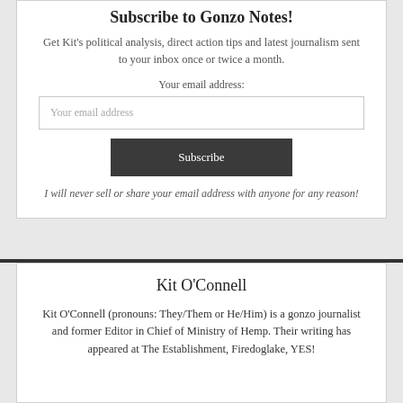Subscribe to Gonzo Notes!
Get Kit's political analysis, direct action tips and latest journalism sent to your inbox once or twice a month.
Your email address:
Your email address
Subscribe
I will never sell or share your email address with anyone for any reason!
Kit O'Connell
Kit O'Connell (pronouns: They/Them or He/Him) is a gonzo journalist and former Editor in Chief of Ministry of Hemp. Their writing has appeared at The Establishment, Firedoglake, YES!